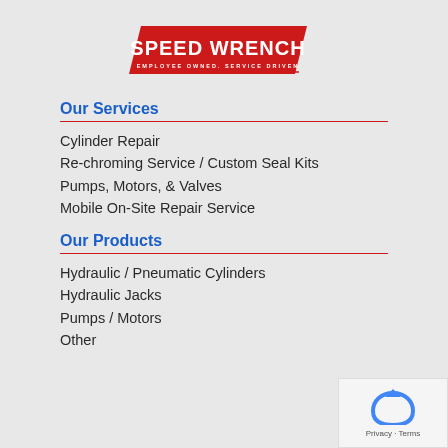[Figure (logo): Speed Wrench logo — red parallelogram shape with white bold text 'SPEED WRENCH' and tagline 'EMPLOYEE OWNED. SERVICE DRIVEN']
Our Services
Cylinder Repair
Re-chroming Service / Custom Seal Kits
Pumps, Motors, & Valves
Mobile On-Site Repair Service
Our Products
Hydraulic / Pneumatic Cylinders
Hydraulic Jacks
Pumps / Motors
Other